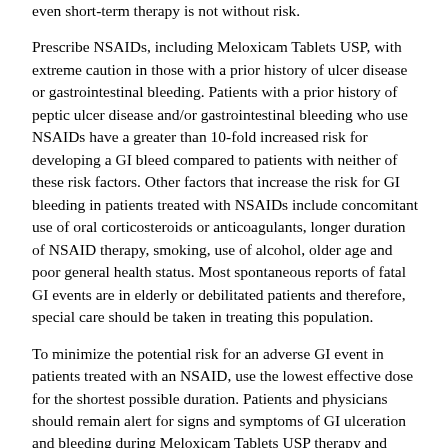even short-term therapy is not without risk.
Prescribe NSAIDs, including Meloxicam Tablets USP, with extreme caution in those with a prior history of ulcer disease or gastrointestinal bleeding. Patients with a prior history of peptic ulcer disease and/or gastrointestinal bleeding who use NSAIDs have a greater than 10-fold increased risk for developing a GI bleed compared to patients with neither of these risk factors. Other factors that increase the risk for GI bleeding in patients treated with NSAIDs include concomitant use of oral corticosteroids or anticoagulants, longer duration of NSAID therapy, smoking, use of alcohol, older age and poor general health status. Most spontaneous reports of fatal GI events are in elderly or debilitated patients and therefore, special care should be taken in treating this population.
To minimize the potential risk for an adverse GI event in patients treated with an NSAID, use the lowest effective dose for the shortest possible duration. Patients and physicians should remain alert for signs and symptoms of GI ulceration and bleeding during Meloxicam Tablets USP therapy and promptly initiate additional evaluation and treatment if a serious GI adverse event is suspected. This should include discontinuation of Meloxicam Tablets USP until a serious GI adverse event is ruled out. For high-risk patients, consider alternate therapies that do not involve NSAIDs.